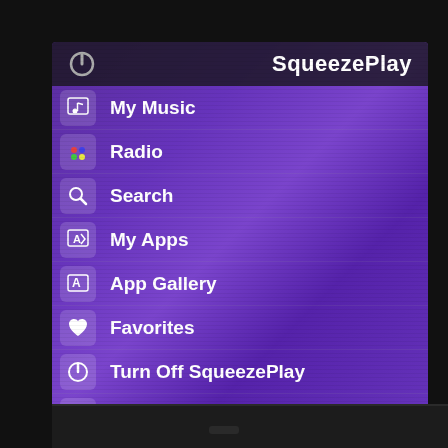[Figure (screenshot): A photograph of a TV screen showing the SqueezePlay media player application menu. The screen has a purple/violet gradient background with a dark top bar containing a power icon on the left and 'SqueezePlay' title on the right. Below are menu items each with a small icon: My Music, Radio, Search, My Apps, App Gallery, Favorites, Turn Off SqueezePlay, Test, Settings. The TV is on a black stand visible at the bottom.]